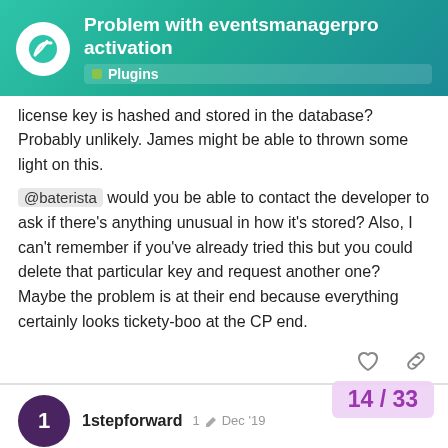Problem with eventsmanagerpro activation — Plugins
license key is hashed and stored in the database? Probably unlikely. James might be able to thrown some light on this.
@baterista would you be able to contact the developer to ask if there's anything unusual in how it's stored? Also, I can't remember if you've already tried this but you could delete that particular key and request another one? Maybe the problem is at their end because everything certainly looks tickety-boo at the CP end.
1stepforward   1  Dec '19
OK, finally got to the bottom of this one. I consulted the oracle ( @james ) and he provided the solution.
This is a problem that has cropped up befo
14 / 33